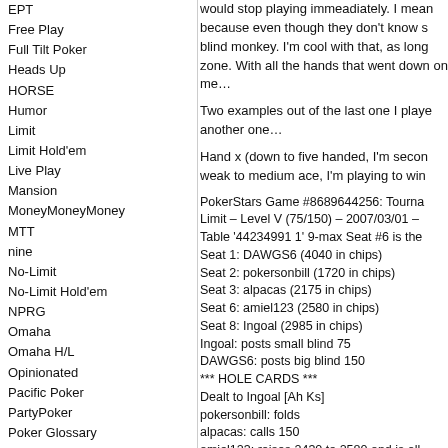EPT
Free Play
Full Tilt Poker
Heads Up
HORSE
Humor
Limit
Limit Hold'em
Live Play
Mansion
MoneyMoneyMoney
MTT
nine
No-Limit
No-Limit Hold'em
NPRG
Omaha
Omaha H/L
Opinionated
Pacific Poker
PartyPoker
Poker Glossary
Poker Stuff
Poker.com
PokerSavvy
PokerStars
Pot Limit
PSO
Razz
Rebuy
Rush
would stop playing immeadiately. I mean because even though they don't know s blind monkey. I'm cool with that, as long zone. With all the hands that went down on me…
Two examples out of the last one I playe another one…
Hand x (down to five handed, I'm secon weak to medium ace, I'm playing to win
PokerStars Game #8689644256: Tourna Limit – Level V (75/150) – 2007/03/01 – Table '44234991 1' 9-max Seat #6 is the Seat 1: DAWGS6 (4040 in chips) Seat 2: pokersonbill (1720 in chips) Seat 3: alpacas (2175 in chips) Seat 6: amiel123 (2580 in chips) Seat 8: Ingoal (2985 in chips) Ingoal: posts small blind 75 DAWGS6: posts big blind 150 *** HOLE CARDS *** Dealt to Ingoal [Ah Ks] pokersonbill: folds alpacas: calls 150 amiel123: raises 2430 to 2580 and is all Ingoal: raises 405 to 2985 and is all-in DAWGS6: folds alpacas: folds *** FLOP *** [Kd 6d Ts] *** TURN *** [Kd 6d Ts] [Qs] *** RIVER *** [Kd 6d Ts Qs] [Th] *** SHOW DOWN *** Ingoal: shows [Ah Ks] (two pair, Kings a amiel123: shows [Jc Ac] (a straight, Ten Ingoal said, "good damn it" amiel123 collected 5460 from pot